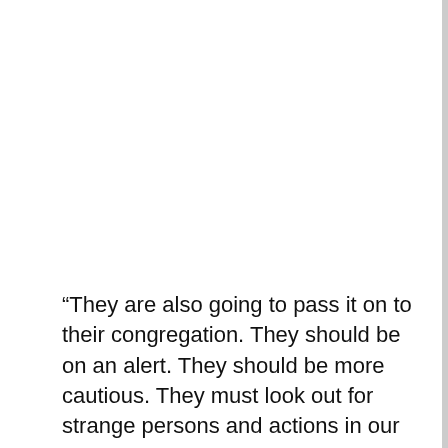“They are also going to pass it on to their congregation. They should be on an alert. They should be more cautious. They must look out for strange persons and actions in our midst”.
Rev Fayose said “this is not the first time we are receiving such messages so member churches have